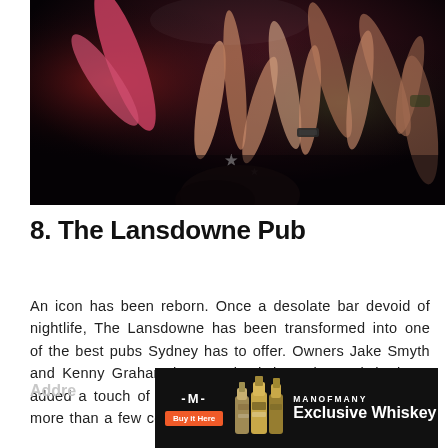[Figure (photo): Crowd of people at a nightclub with arms raised, lit by colorful lighting, dark background.]
8. The Lansdowne Pub
An icon has been reborn. Once a desolate bar devoid of nightlife, The Lansdowne has been transformed into one of the best pubs Sydney has to offer. Owners Jake Smyth and Kenny Graham have revived the pub's rock heritage added a touch of mary's class. Expect pizzas, beers and more than a few cold hard tunes.
Addre
[Figure (infographic): Man of Many advertisement banner with logo, whiskey bottles, Buy it Here button, and text 'MANOFMANY Exclusive Whiskey' on dark background.]